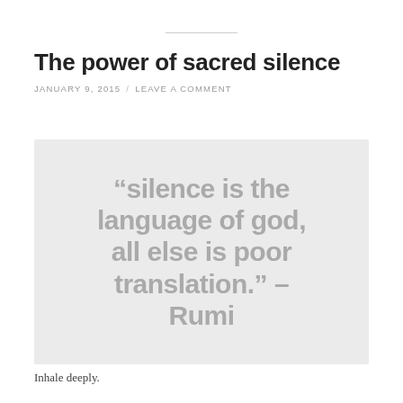The power of sacred silence
JANUARY 9, 2015 / LEAVE A COMMENT
[Figure (illustration): Light grey box containing large grey bold text quote: “silence is the language of god, all else is poor translation.” – Rumi]
Inhale deeply.